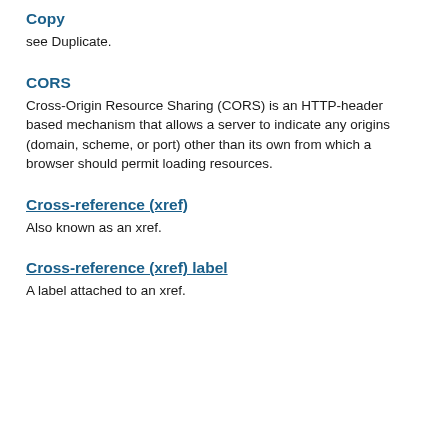Copy
see Duplicate.
CORS
Cross-Origin Resource Sharing (CORS) is an HTTP-header based mechanism that allows a server to indicate any origins (domain, scheme, or port) other than its own from which a browser should permit loading resources.
Cross-reference (xref)
Also known as an xref.
Cross-reference (xref) label
A label attached to an xref.